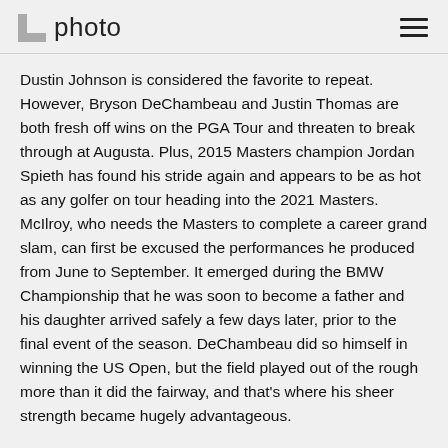photo
Dustin Johnson is considered the favorite to repeat. However, Bryson DeChambeau and Justin Thomas are both fresh off wins on the PGA Tour and threaten to break through at Augusta. Plus, 2015 Masters champion Jordan Spieth has found his stride again and appears to be as hot as any golfer on tour heading into the 2021 Masters. McIlroy, who needs the Masters to complete a career grand slam, can first be excused the performances he produced from June to September. It emerged during the BMW Championship that he was soon to become a father and his daughter arrived safely a few days later, prior to the final event of the season. DeChambeau did so himself in winning the US Open, but the field played out of the rough more than it did the fairway, and that's where his sheer strength became hugely advantageous.